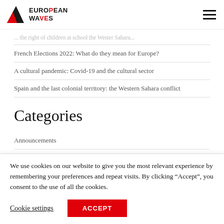EUROPEAN WAVES
French Elections 2022: What do they mean for Europe?
A cultural pandemic: Covid-19 and the cultural sector
Spain and the last colonial territory: the Western Sahara conflict
Categories
Announcements
We use cookies on our website to give you the most relevant experience by remembering your preferences and repeat visits. By clicking “Accept”, you consent to the use of all the cookies.
Cookie settings   ACCEPT